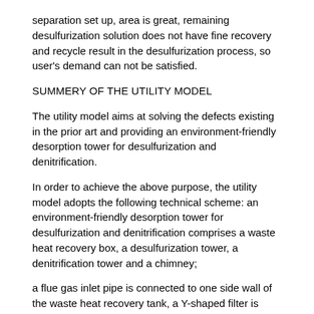separation set up, area is great, remaining desulfurization solution does not have fine recovery and recycle result in the desulfurization process, so user's demand can not be satisfied.
SUMMERY OF THE UTILITY MODEL
The utility model aims at solving the defects existing in the prior art and providing an environment-friendly desorption tower for desulfurization and denitrification.
In order to achieve the above purpose, the utility model adopts the following technical scheme: an environment-friendly desorption tower for desulfurization and denitrification comprises a waste heat recovery box, a desulfurization tower, a denitrification tower and a chimney;
a flue gas inlet pipe is connected to one side wall of the waste heat recovery tank, a Y-shaped filter is arranged on the flue gas inlet pipe, the waste heat recovery tank is in conduction connection with a desulfurization tower through a first guide pipe, the desulfurization tower is in conduction connection with a denitration tower through a